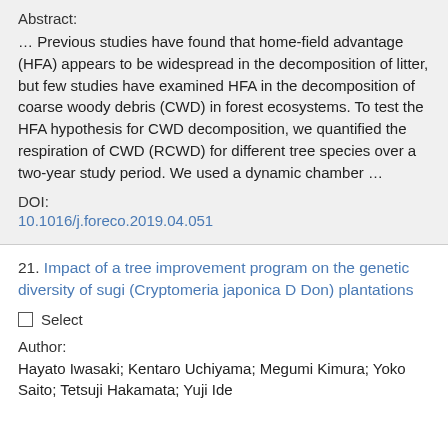Abstract:
… Previous studies have found that home-field advantage (HFA) appears to be widespread in the decomposition of litter, but few studies have examined HFA in the decomposition of coarse woody debris (CWD) in forest ecosystems. To test the HFA hypothesis for CWD decomposition, we quantified the respiration of CWD (RCWD) for different tree species over a two-year study period. We used a dynamic chamber …
DOI:
10.1016/j.foreco.2019.04.051
21. Impact of a tree improvement program on the genetic diversity of sugi (Cryptomeria japonica D Don) plantations
Select
Author:
Hayato Iwasaki; Kentaro Uchiyama; Megumi Kimura; Yoko Saito; Tetsuji Hakamata; Yuji Ide